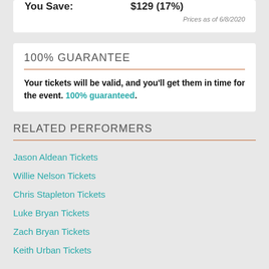|  |  |
| --- | --- |
| You Save: | $129 (17%) |
Prices as of 6/8/2020
100% GUARANTEE
Your tickets will be valid, and you'll get them in time for the event. 100% guaranteed.
RELATED PERFORMERS
Jason Aldean Tickets
Willie Nelson Tickets
Chris Stapleton Tickets
Luke Bryan Tickets
Zach Bryan Tickets
Keith Urban Tickets